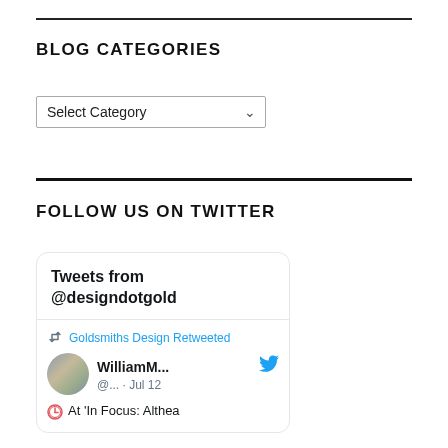BLOG CATEGORIES
[Figure (screenshot): A dropdown select input labeled 'Select Category' with a chevron/arrow indicating it is a dropdown menu.]
FOLLOW US ON TWITTER
[Figure (screenshot): A Twitter embedded widget card showing 'Tweets from @designdotgold'. Inside is a retweet by Goldsmiths Design of a tweet by WilliamM... (@...) dated Jul 12, beginning with 'At In Focus: Althea'. A Twitter bird logo is shown next to the username.]